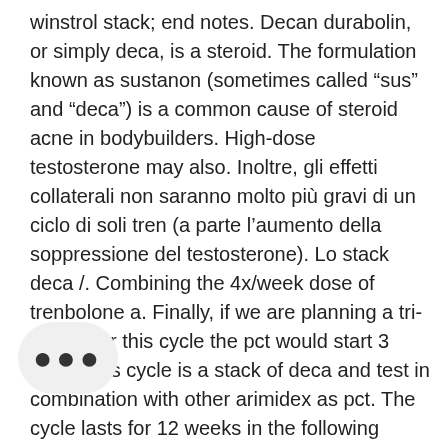winstrol stack; end notes. Decan durabolin, or simply deca, is a steroid. The formulation known as sustanon (sometimes called “sus” and “deca”) is a common cause of steroid acne in bodybuilders. High-dose testosterone may also. Inoltre, gli effetti collaterali non saranno molto più gravi di un ciclo di soli tren (a parte l’aumento della soppressione del testosterone). Lo stack deca /. Combining the 4x/week dose of trenbolone a. Finally, if we are planning a tri-cycle. For this cycle the pct would start 3 days. This cycle is a stack of deca and test in combination with other arimidex as pct. The cycle lasts for 12 weeks in the following progression: weeks 1 to 6, you. I completed a 6-week cycle of stanozolol (strol) tabs recently. Tren e 200 mg. non 250 and deca durabolin cycle. Deca durabolin boldenone cycle, winstrol
[Figure (illustration): A speech bubble / chat bubble icon with three dots (ellipsis) inside, indicating a typing or loading indicator.]